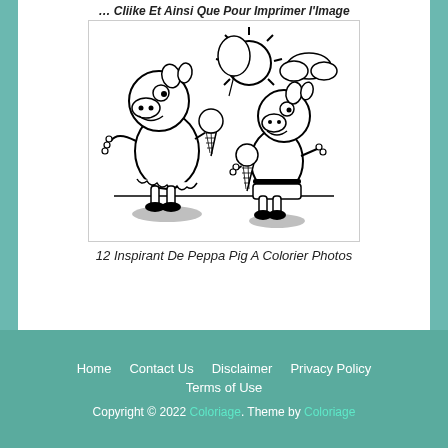... Cliike Et Ainsi Que Pour Imprimer l'Image
[Figure (illustration): Black and white coloring page of Peppa Pig and George Pig holding ice cream cones, with a sun and cloud in the background]
12 Inspirant De Peppa Pig A Colorier Photos
Home   Contact Us   Disclaimer   Privacy Policy   Terms of Use   Copyright © 2022 Coloriage. Theme by Coloriage